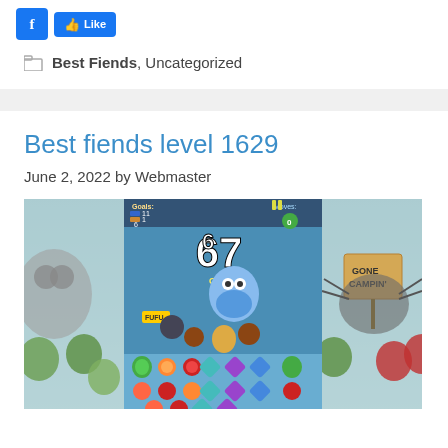[Figure (screenshot): Facebook share button and Like button at the top of the page]
Best Fiends, Uncategorized
Best fiends level 1629
June 2, 2022 by Webmaster
[Figure (screenshot): Game screenshot of Best Fiends level 1629 showing a match-3 puzzle game with colorful characters, fruits, and gems on a winter-themed board. Score shows 67, Goals: 11, 1, 6, Moves counter visible, GONE CAMPIN sign on right side.]